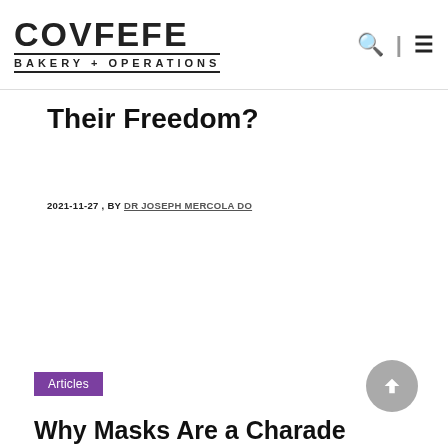COVFEFE BAKERY + OPERATIONS
Their Freedom?
2021-11-27 , BY DR JOSEPH MERCOLA DO
Articles
Why Masks Are a Charade